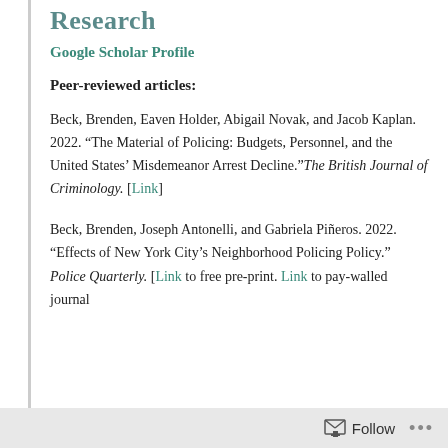Research
Google Scholar Profile
Peer-reviewed articles:
Beck, Brenden, Eaven Holder, Abigail Novak, and Jacob Kaplan. 2022. “The Material of Policing: Budgets, Personnel, and the United States’ Misdemeanor Arrest Decline.” The British Journal of Criminology. [Link]
Beck, Brenden, Joseph Antonelli, and Gabriela Piñeros. 2022. “Effects of New York City’s Neighborhood Policing Policy.” Police Quarterly. [Link to free pre-print. Link to pay-walled journal
Follow